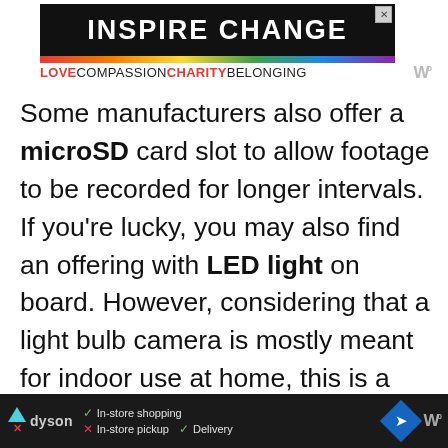[Figure (infographic): Top advertisement banner: black box with white bold text 'INSPIRE CHANGE' and a small X close button, rainbow gradient bar below, then text 'LOVECOMPASSIONCHARITYBELONGING' with a Whataburger-style logo on the right]
Some manufacturers also offer a microSD card slot to allow footage to be recorded for longer intervals. If you're lucky, you may also find an offering with LED light on board. However, considering that a light bulb camera is mostly meant for indoor use at home, this is a rare feature. But we will be sure to discuss at least a few of them in this
[Figure (infographic): Bottom advertisement bar (dark background): Dyson logo with triangle icon and X mark, text 'In-store shopping', 'In-store pickup', 'Delivery' with check/X marks, a blue diamond navigation icon, and a Whataburger-style logo]